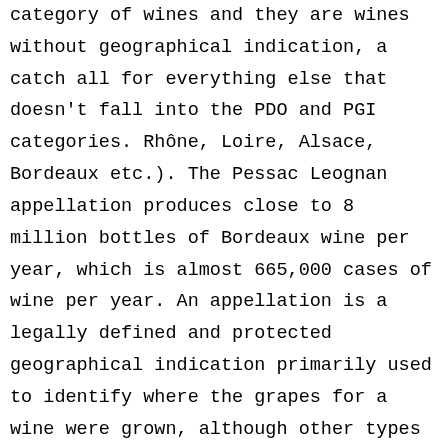category of wines and they are wines without geographical indication, a catch all for everything else that doesn't fall into the PDO and PGI categories. Rhône, Loire, Alsace, Bordeaux etc.). The Pessac Leognan appellation produces close to 8 million bottles of Bordeaux wine per year, which is almost 665,000 cases of wine per year. An appellation is a legally defined and protected geographical indication primarily used to identify where the grapes for a wine were grown, although other types of food often have appellations as well. If all the grapes come from one of the quality wine regions, for example Mosel, then the wine can bear the superior appellation of Deutscher Sekt bA. Found inside – Page 25There are similar examples elsewhere in the New World. ... the same winemaker than there is in wines from the same appellation made by different winemakers. 90% Turbiana (aka Trebbiano di Lugana)